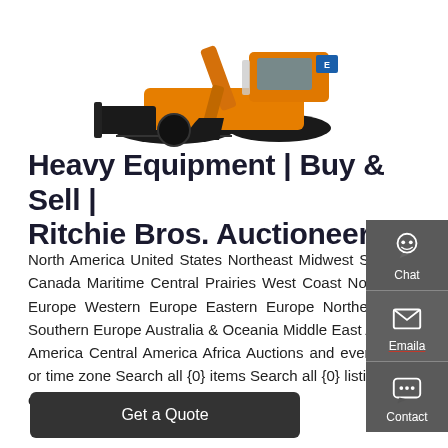[Figure (photo): Orange mini excavator/bulldozer with tracks and blade attachment, viewed from the side, on white background]
Heavy Equipment | Buy & Sell | Ritchie Bros. Auctioneers
North America United States Northeast Midwest South West Canada Maritime Central Prairies West Coast North Mexico Europe Western Europe Eastern Europe Northern Europe Southern Europe Australia & Oceania Middle East Asia South America Central America Africa Auctions and events Region or time zone Search all {0} items Search all {0} listings Listing catalog (PDF) ...
[Figure (screenshot): Sidebar with three contact options: Chat (headset icon), Email (envelope icon), Contact (chat bubble icon), on dark grey background]
Get a Quote